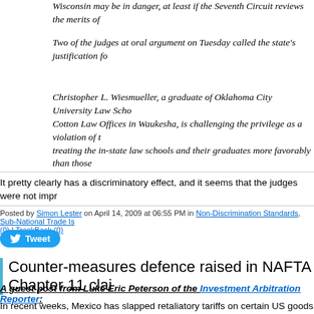Wisconsin's diploma privilege for graduates of the law schools at Marquette and UW-Madison may be in danger, at least if the Seventh Circuit reviews the merits of
Two of the judges at oral argument on Tuesday called the state's justification fo
Christopher L. Wiesmueller, a graduate of Oklahoma City University Law School, who works at Cotton Law Offices in Waukesha, is challenging the privilege as a violation of the dormant, treating the in-state law schools and their graduates more favorably than those
It pretty clearly has a discriminatory effect, and it seems that the judges were not impr
Posted by Simon Lester on April 14, 2009 at 06:55 PM in Non-Discrimination Standards, Sub-National Trade Is... (0) | TrackBack (0)
Counter-measures defence raised in NAFTA Chapter 11 clai
A guest post from Luke Eric Peterson of the Investment Arbitration Reporter:
In recent weeks, Mexico has slapped retaliatory tariffs on certain US goods – and sou failure to provide greater access for Mexican trucks (more specificially, Mexico cites a